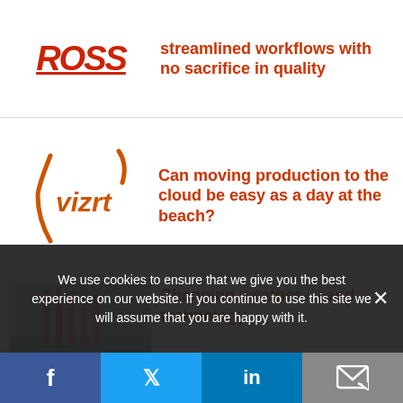[Figure (logo): Ross Video logo (partial, red italic bold text with underline)]
streamlined workflows with no sacrifice in quality
[Figure (logo): Vizrt logo in orange/red italic serif style with stylized brackets]
Can moving production to the cloud be easy as a day at the beach?
[Figure (photo): Weather technology photo showing pink/red vertical lines over water/grey background]
Changing weather — and technology —
We use cookies to ensure that we give you the best experience on our website. If you continue to use this site we will assume that you are happy with it.
[Figure (infographic): Social sharing bar with Facebook, Twitter, LinkedIn, and email icons]